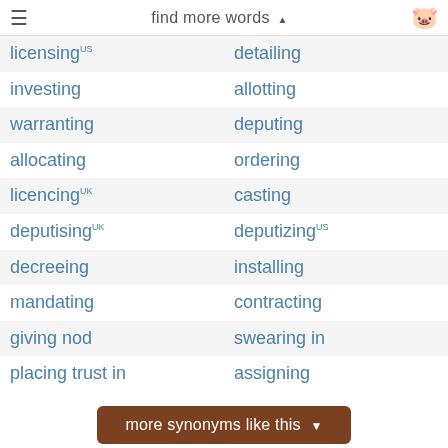≡  find more words ▲  🐷
licensing (US)  |  detailing
investing  |  allotting
warranting  |  deputing
allocating  |  ordering
licencing (UK)  |  casting
deputising (UK)  |  deputizing (US)
decreeing  |  installing
mandating  |  contracting
giving nod  |  swearing in
placing trust in  |  assigning
more synonyms like this ▼
Verb ▲
Present participle for to reach a decision or